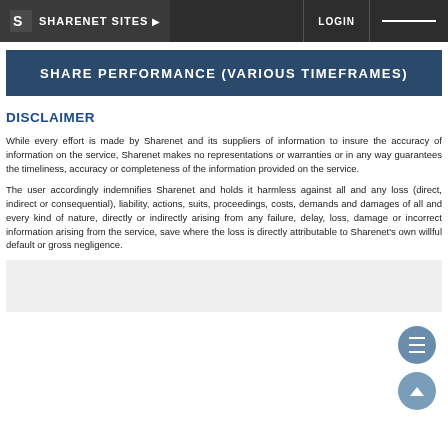SHARENET SITES | LOGIN
SHARE PERFORMANCE (VARIOUS TIMEFRAMES)
DISCLAIMER
While every effort is made by Sharenet and its suppliers of information to insure the accuracy of information on the service, Sharenet makes no representations or warranties or in any way guarantees the timeliness, accuracy or completeness of the information provided on the service.
The user accordingly indemnifies Sharenet and holds it harmless against all and any loss (direct, indirect or consequential), liability, actions, suits, proceedings, costs, demands and damages of all and every kind of nature, directly or indirectly arising from any failure, delay, loss, damage or incorrect information arising from the service, save where the loss is directly attributable to Sharenet's own willful default or gross negligence.